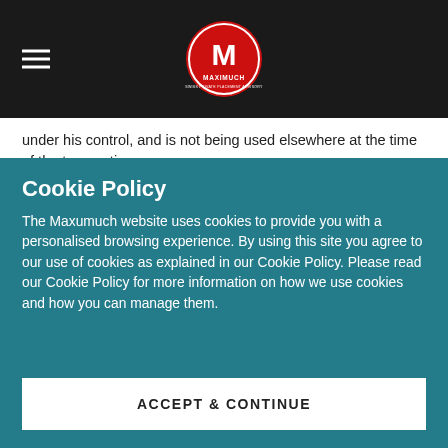Maximuch logo header with hamburger menu
under his control, and is not being used elsewhere at the time of the transaction. Arbitrage transactions with discounted bank instruments are done in a similar way. The involved traders never actually spend the money, but they must be in control of it. The client's principal is reserved directly for this, or indirectly in order for the trader to
Cookie Policy
The Maxumuch website uses cookies to provide you with a personalised browsing experience. By using this site you agree to our use of cookies as explained in our Cookie Policy. Please read our Cookie Policy for more information on how we use cookies and how you can manage them.
ACCEPT & CONTINUE